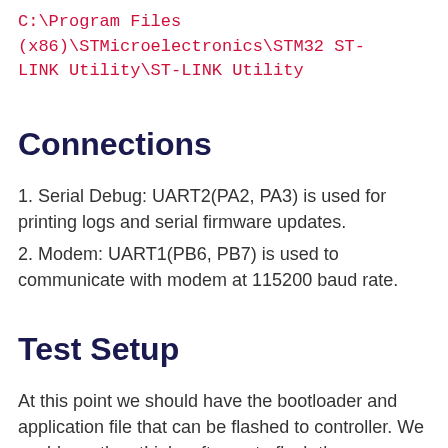C:\Program Files (x86)\STMicroelectronics\STM32 ST-LINK Utility\ST-LINK Utility
Connections
1. Serial Debug: UART2(PA2, PA3) is used for printing logs and serial firmware updates.
2. Modem: UART1(PB6, PB7) is used to communicate with modem at 115200 baud rate.
Test Setup
At this point we should have the bootloader and application file that can be flashed to controller. We could use the stLink software to flash the bootloader and serial tools like terminal, putty etc. to send the application file. We also have to